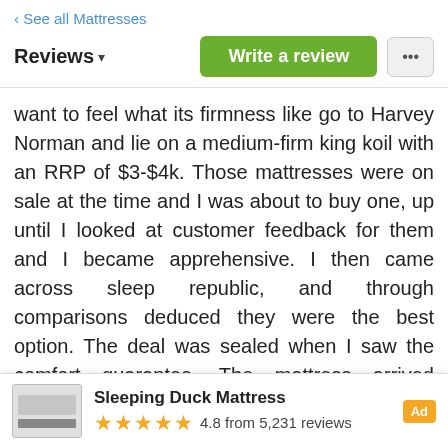< See all Mattresses
Reviews ▾
want to feel what its firmness like go to Harvey Norman and lie on a medium-firm king koil with an RRP of $3-$4k. Those mattresses were on sale at the time and I was about to buy one, up until I looked at customer feedback for them and I became apprehensive. I then came across sleep republic, and through comparisons deduced they were the best option. The deal was sealed when I saw the comfort guarantee. The mattress arrived quickly after purcha...
Read more ▾
Sleeping Duck Mattress — Ad — 4.8 from 5,231 reviews